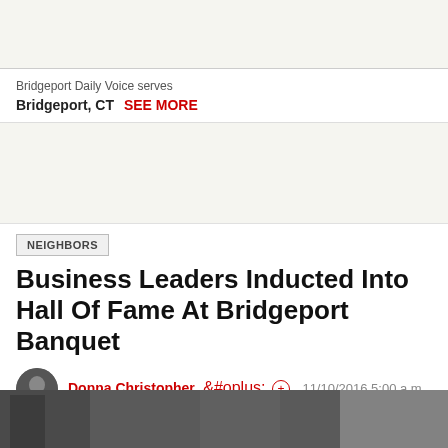Bridgeport Daily Voice serves Bridgeport, CT  SEE MORE
NEIGHBORS
Business Leaders Inducted Into Hall Of Fame At Bridgeport Banquet
Donna Christopher  11/10/2016 5:00 a.m.
[Figure (other): Social sharing buttons: Facebook, Twitter, LinkedIn, Share, Print, Comment]
[Figure (photo): Bottom photo strip showing people at an event]